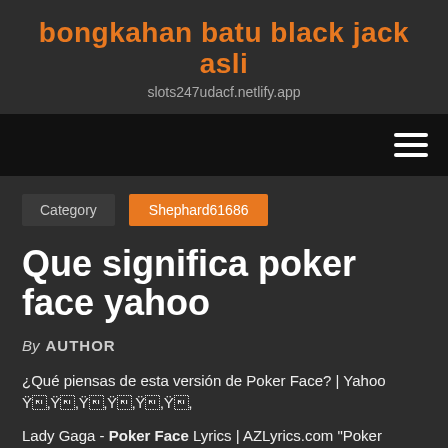bongkahan batu black jack asli
slots247udacf.netlify.app
[Figure (other): Navigation bar with hamburger menu icon on dark/black background]
Category   Shephard61686
Que significa poker face yahoo
By AUTHOR
¿Qué piensas de esta versión de Poker Face? | Yahoo 返答受付中
Lady Gaga - Poker Face Lyrics | AZLyrics.com "Poker Face". Mum mum mum mah Mum mum mum mah Mum mum mum